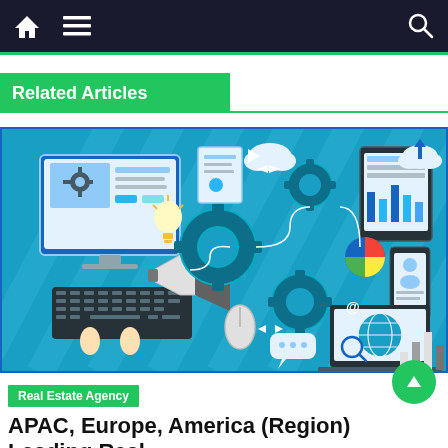Navigation bar with home, menu, and search icons
Related Articles
[Figure (illustration): Digital technology and internet concept illustration featuring a desktop computer, keyboard, megaphone, gears, cloud icons, tablet, smartphone, laptop with globe, bar charts, mouse, chat bubbles, and connected workflow elements on a blue background]
Real Estate Agency
APAC, Europe, America (Region) Leading Real